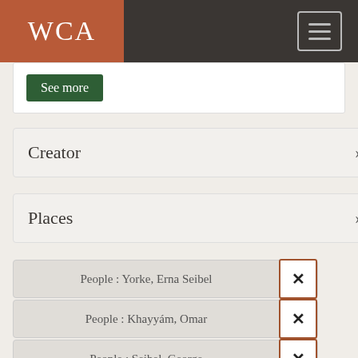WCA
See more
Creator
Places
People : Yorke, Erna Seibel
People : Khayyám, Omar
People : Seibel, George
People : Fisher, Dorothy Canfield